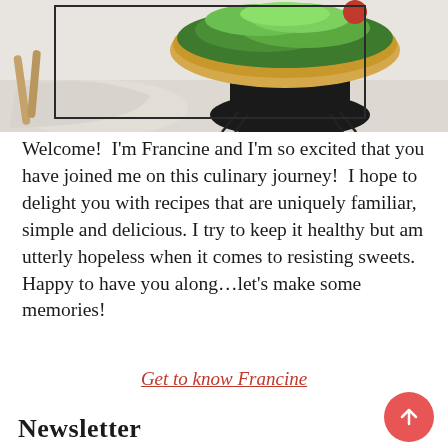[Figure (photo): A wooden bowl filled with green salad/arugula leaves, sitting on a black wire stand, with a cloth napkin and wooden utensils in the background on a white surface. A rectangular border overlay is visible on the image.]
Welcome!  I'm Francine and I'm so excited that you have joined me on this culinary journey!  I hope to delight you with recipes that are uniquely familiar, simple and delicious. I try to keep it healthy but am utterly hopeless when it comes to resisting sweets. Happy to have you along…let's make some memories!
Get to know Francine
Newsletter